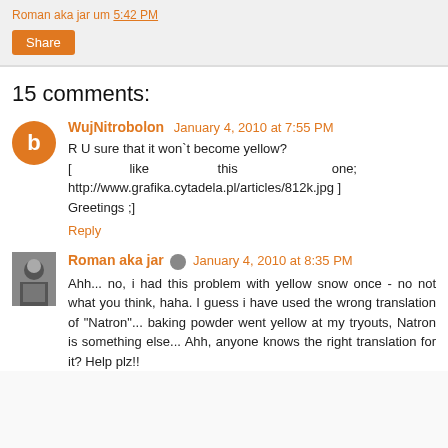Roman aka jar um 5:42 PM
Share
15 comments:
WujNitrobolon  January 4, 2010 at 7:55 PM
R U sure that it won`t become yellow?
[ like this one; http://www.grafika.cytadela.pl/articles/812k.jpg ]
Greetings ;]
Reply
Roman aka jar  January 4, 2010 at 8:35 PM
Ahh... no, i had this problem with yellow snow once - no not what you think, haha. I guess i have used the wrong translation of "Natron"... baking powder went yellow at my tryouts, Natron is something else... Ahh, anyone knows the right translation for it? Help plz!!